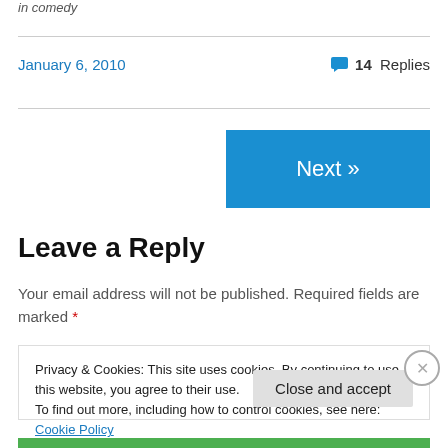in  comedy
January 6, 2010    💬 14 Replies
Next »
Leave a Reply
Your email address will not be published. Required fields are marked *
Privacy & Cookies: This site uses cookies. By continuing to use this website, you agree to their use.
To find out more, including how to control cookies, see here: Cookie Policy
Close and accept